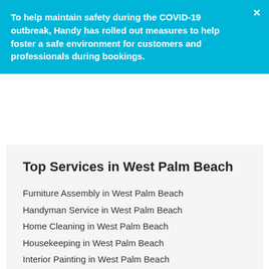To help maintain safety during the COVID-19 outbreak, Handy has rolled out measures to help foster a safe environment for customers and professionals during bookings.
Top Services in West Palm Beach
Furniture Assembly in West Palm Beach
Handyman Service in West Palm Beach
Home Cleaning in West Palm Beach
Housekeeping in West Palm Beach
Interior Painting in West Palm Beach
Maid Service in West Palm Beach